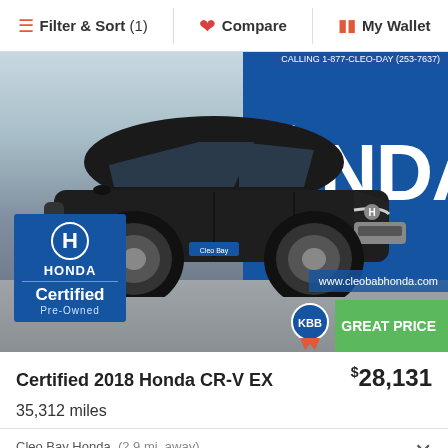Filter & Sort (1) | Compare | My Wallet
[Figure (photo): Black 2018 Honda CR-V EX SUV parked in front of a blue Honda dealership sign. Honda Certified Pre-Owned badge in bottom-left corner. Website www.cleobabhonda.com shown in lower right. Great Price badge in bottom-right corner.]
Certified 2018 Honda CR-V EX   $28,131
35,312 miles
Cleo Bay Honda  (2.9 mi. away)
KBB.com Rating  4.8